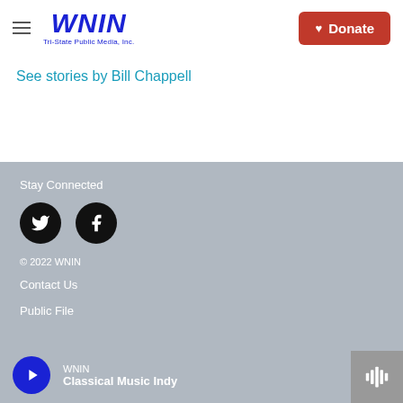WNIN Tri-State Public Media, Inc. | Donate
See stories by Bill Chappell
Stay Connected | © 2022 WNIN | Contact Us | Public File | WNIN Classical Music Indy